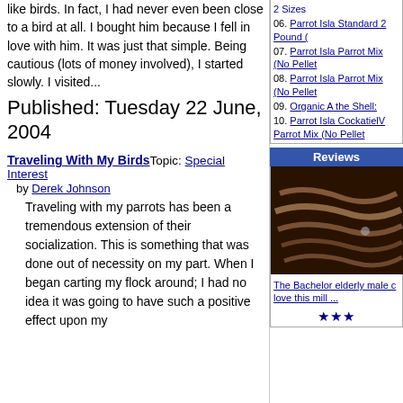like birds. In fact, I had never even been close to a bird at all. I bought him because I fell in love with him. It was just that simple. Being cautious (lots of money involved), I started slowly. I visited...
Published: Tuesday 22 June, 2004
Traveling With My Birds Topic: Special Interest by Derek Johnson
Traveling with my parrots has been a tremendous extension of their socialization. This is something that was done out of necessity on my part. When I began carting my flock around; I had no idea it was going to have such a positive effect upon my
06. Parrot Isla Standard 2 Pound (
07. Parrot Isla Parrot Mix (No Pellet
08. Parrot Isla Parrot Mix (No Pellet
09. Organic A the Shell:
10. Parrot Isla CockatielV Parrot Mix (No Pellet
Reviews
[Figure (photo): Close-up photo of what appears to be a brown/tan colored bird feather or wing texture against a dark background]
The Bachelor elderly male c love this mill ...
★★★